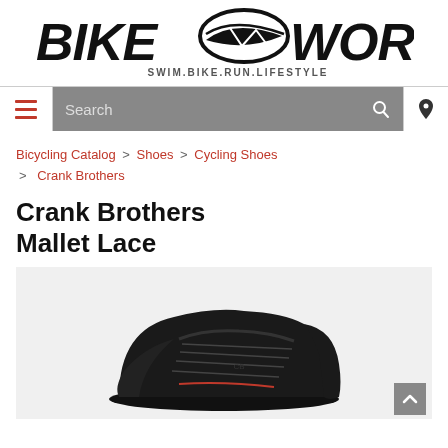[Figure (logo): Bike Works logo with tagline SWIM.BIKE.RUN.LIFESTYLE]
[Figure (screenshot): Navigation bar with hamburger menu, search field, search icon, and location icon]
Bicycling Catalog > Shoes > Cycling Shoes > Crank Brothers
Crank Brothers Mallet Lace
[Figure (photo): Black Crank Brothers Mallet Lace cycling shoe against light gray background]